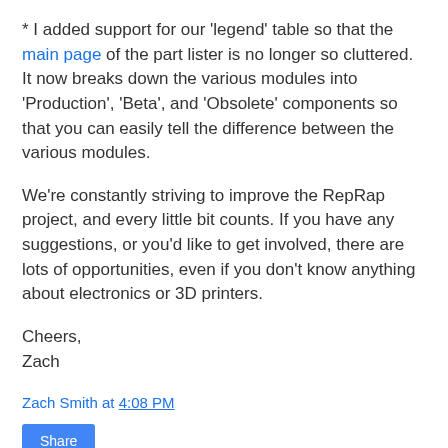* I added support for our 'legend' table so that the main page of the part lister is no longer so cluttered. It now breaks down the various modules into 'Production', 'Beta', and 'Obsolete' components so that you can easily tell the difference between the various modules.
We're constantly striving to improve the RepRap project, and every little bit counts. If you have any suggestions, or you'd like to get involved, there are lots of opportunities, even if you don't know anything about electronics or 3D printers.
Cheers,
Zach
Zach Smith at 4:08 PM
Share
6 comments: